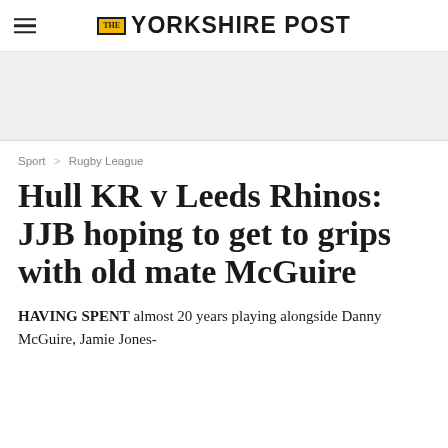THE YORKSHIRE POST
Sport > Rugby League
Hull KR v Leeds Rhinos: JJB hoping to get to grips with old mate McGuire
HAVING SPENT almost 20 years playing alongside Danny McGuire, Jamie Jones-